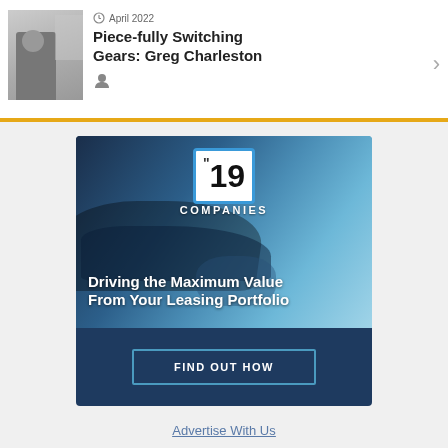April 2022
Piece-fully Switching Gears: Greg Charleston
[Figure (infographic): Advertisement banner: '19 Companies - Driving the Maximum Value From Your Leasing Portfolio' with a 'FIND OUT HOW' button, featuring a car dashboard background image]
Advertise With Us